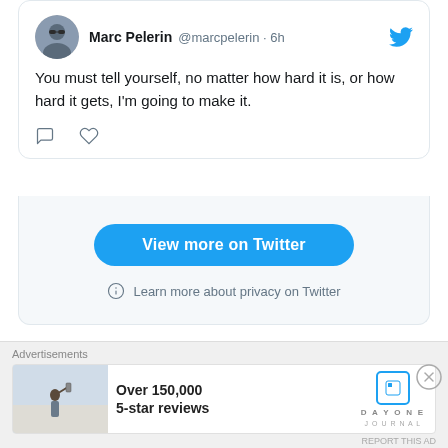[Figure (screenshot): Twitter/X embedded tweet card showing Marc Pelerin @marcpelerin · 6h with tweet text: 'You must tell yourself, no matter how hard it is, or how hard it gets, I'm going to make it.' with comment and heart action icons, followed by a 'View more on Twitter' blue button and 'Learn more about privacy on Twitter' link.]
Advertisements
[Figure (screenshot): Advertisement banner at the bottom showing a person photographing from a hilltop, with text 'Over 150,000 5-star reviews' and the Day One Journal logo.]